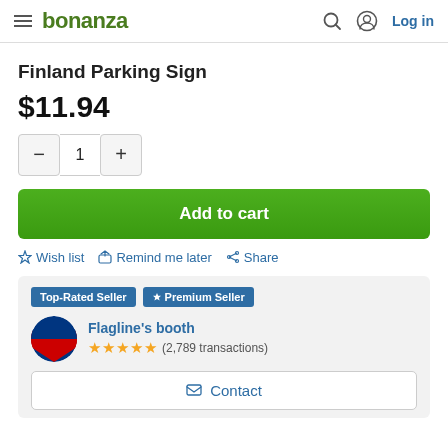bonanza — Log in
Finland Parking Sign
$11.94
1
Add to cart
Wish list   Remind me later   Share
Top-Rated Seller   ★ Premium Seller
Flagline's booth
(2,789 transactions)
Contact